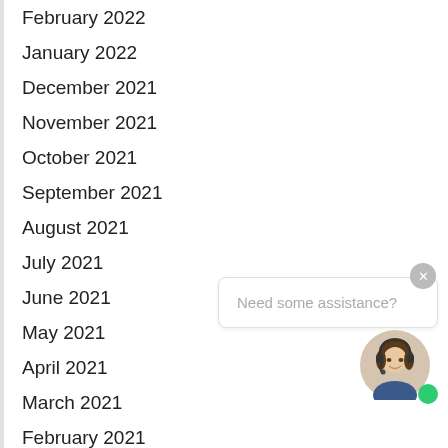February 2022
January 2022
December 2021
November 2021
October 2021
September 2021
August 2021
July 2021
June 2021
May 2021
April 2021
March 2021
February 2021
January 2021
December 2020
November 2020
[Figure (screenshot): Chat support widget with 'Need some assistance?' prompt, close button, and female customer service avatar with green status dot]